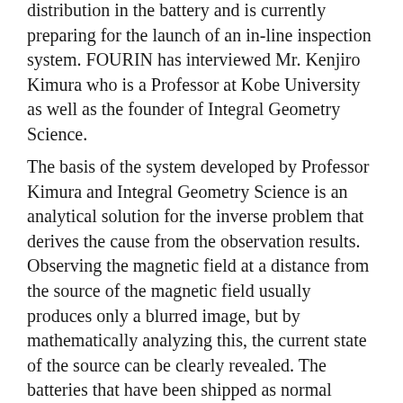distribution in the battery and is currently preparing for the launch of an in-line inspection system. FOURIN has interviewed Mr. Kenjiro Kimura who is a Professor at Kobe University as well as the founder of Integral Geometry Science.
The basis of the system developed by Professor Kimura and Integral Geometry Science is an analytical solution for the inverse problem that derives the cause from the observation results. Observing the magnetic field at a distance from the source of the magnetic field usually produces only a blurred image, but by mathematically analyzing this, the current state of the source can be clearly revealed. The batteries that have been shipped as normal products until now included batteries with non-uniform current distribution. These defective batteries can be identified by Professor Kimura's system. In addition, since an analytical solution is used, that is, a mathematical